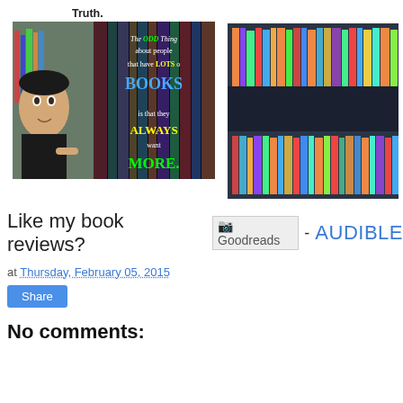[Figure (photo): Collage: person selfie in front of bookshelf, motivational quote image about books, and a photo of a bookshelf. Caption label 'Truth.' above left images.]
Truth.
Connect with me online!
Like my book reviews?
[Figure (logo): Goodreads logo image placeholder]
-
AUDIBLE
at Thursday, February 05, 2015
Share
No comments: